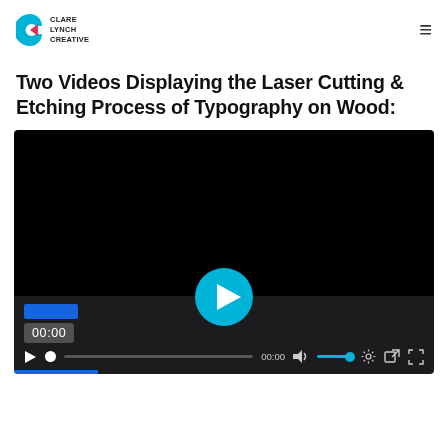Clare Lynch Creative — navigation header with logo and hamburger menu
Two Videos Displaying the Laser Cutting & Etching Process of Typography on Wood:
[Figure (screenshot): Video player screenshot showing a black video preview area with a cyan play button circle in the center, progress bar, timestamp 00:00, and media controls bar at the bottom including play, progress scrubber, time display, volume, settings, share, and fullscreen icons.]